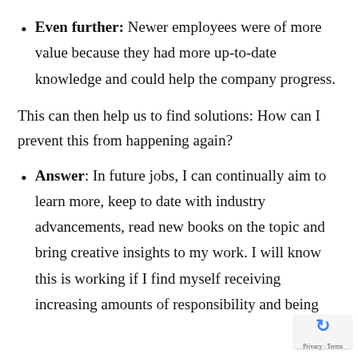Even further: Newer employees were of more value because they had more up-to-date knowledge and could help the company progress.
This can then help us to find solutions: How can I prevent this from happening again?
Answer: In future jobs, I can continually aim to learn more, keep to date with industry advancements, read new books on the topic and bring creative insights to my work. I will know this is working if I find myself receiving increasing amounts of responsibility and being